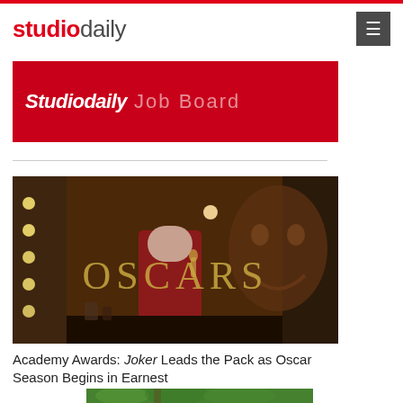studiodaily
[Figure (other): StudioDaily Job Board banner — red background with white italic StudioDaily text and grey Job Board text]
[Figure (photo): Photo of Joaquin Phoenix as the Joker in a dressing room, with OSCARS text overlay in gold]
Academy Awards: Joker Leads the Pack as Oscar Season Begins in Earnest
[Figure (photo): Partial photo of a green forest/nature scene at the bottom of the page]